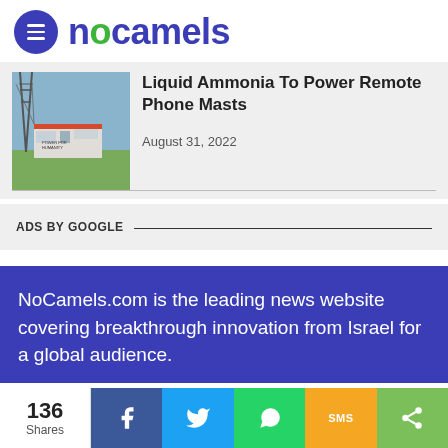NoCamels
Liquid Ammonia To Power Remote Phone Masts
August 31, 2022
ADS BY GOOGLE
NoCamels.com is the leading news website covering breakthrough innovation from Israel for a global audience.
136 Shares